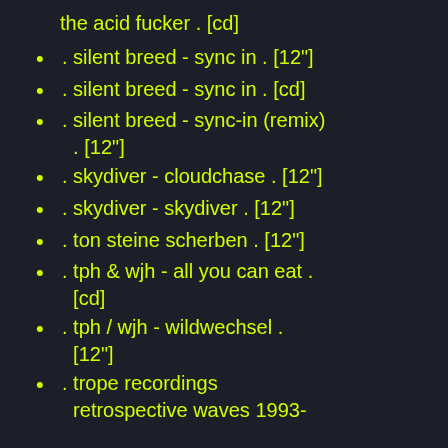the acid fucker . [cd]
. silent breed - sync in . [12"]
. silent breed - sync in . [cd]
. silent breed - sync-in (remix) . [12"]
. skydiver - cloudchase . [12"]
. skydiver - skydiver . [12"]
. ton steine scherben . [12"]
. tph & wjh - all you can eat . [cd]
. tph / wjh - wildwechsel . [12"]
. trope recordings retrospective waves 1993-